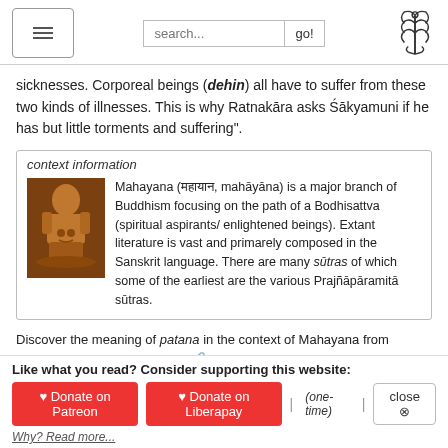Navigation header with hamburger menu, search bar, and logo
sicknesses. Corporeal beings (dehin) all have to suffer from these two kinds of illnesses. This is why Ratnakāra asks Śākyamuni if he has but little torments and suffering".
context information
[Figure (photo): Golden Buddhist statue of a Bodhisattva in meditation pose]
Mahayana (महायान, mahāyāna) is a major branch of Buddhism focusing on the path of a Bodhisattva (spiritual aspirants/ enlightened beings). Extant literature is vast and primarely composed in the Sanskrit language. There are many sūtras of which some of the earliest are the various Prajñāpāramitā sūtras.
Discover the meaning of patana in the context of Mahayana from relevant books on Exotic India
Tibetan Buddhism (Vajrayana or tantric Buddhism)
[«previous (P) next»] — Patana in Tibetan Buddhism glossary
Source: Brill: Śaivism and the Tantric Traditions (tantric Buddhism)
Like what you read? Consider supporting this website:
♥ Donate on Patreon   ♥ Donate on Liberapay   | (one-time) |   close ⊗
Why? Read more...